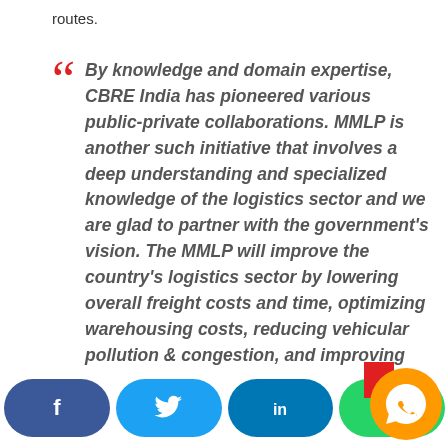routes.
By knowledge and domain expertise, CBRE India has pioneered various public-private collaborations. MMLP is another such initiative that involves a deep understanding and specialized knowledge of the logistics sector and we are glad to partner with the government's vision. The MMLP will improve the country's logistics sector by lowering overall freight costs and time, optimizing warehousing costs, reducing vehicular pollution & congestion, and improving the